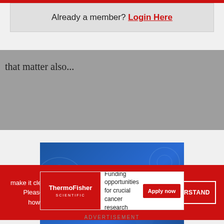Already a member? Login Here
that matter also...
[Figure (illustration): Blue banner ad with white bold text reading 'The future is in interdisciplinary research']
make it clearer how we use your personal data. Please read our Cookie Policy to learn how we use cookies to provide you
I UNDERSTAND
[Figure (illustration): ThermoFisher Scientific advertisement: Funding opportunities for crucial cancer research. Apply now button.]
ADVERTISEMENT